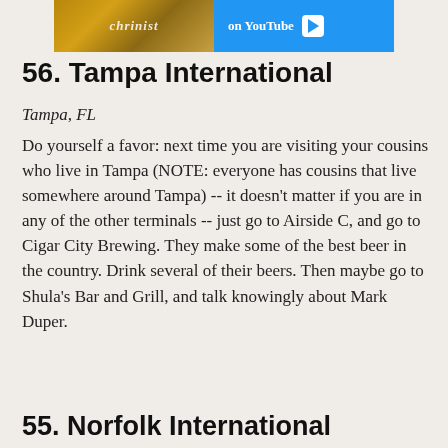[Figure (other): Advertisement banner with photo and YouTube branding showing 'on YouTube' text with play button]
56. Tampa International
Tampa, FL
Do yourself a favor: next time you are visiting your cousins who live in Tampa (NOTE: everyone has cousins that live somewhere around Tampa) -- it doesn't matter if you are in any of the other terminals -- just go to Airside C, and go to Cigar City Brewing. They make some of the best beer in the country. Drink several of their beers. Then maybe go to Shula's Bar and Grill, and talk knowingly about Mark Duper.
55. Norfolk International